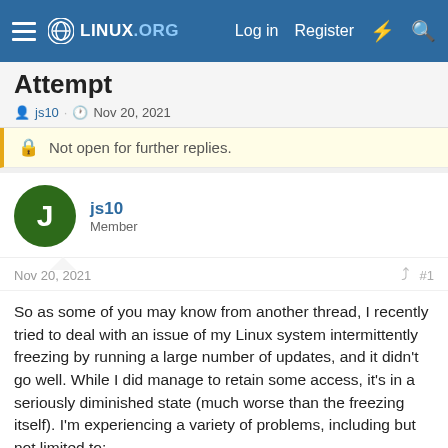LINUX.ORG  Log in  Register
Attempt
js10 · Nov 20, 2021
Not open for further replies.
js10
Member
Nov 20, 2021  #1
So as some of you may know from another thread, I recently tried to deal with an issue of my Linux system intermittently freezing by running a large number of updates, and it didn't go well. While I did manage to retain some access, it's in a seriously diminished state (much worse than the freezing itself). I'm experiencing a variety of problems, including but not limited to:
- Unable to boot at all without the StartX command.